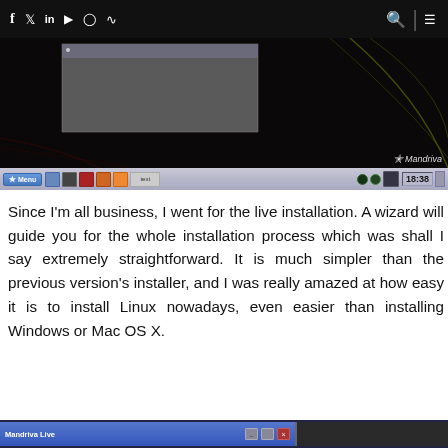Navigation bar with social icons (f, Twitter, in, YouTube, Instagram, RSS) and search/menu icons
[Figure (screenshot): Mandriva Linux desktop screenshot showing dark background with green curved lines, a gray dialog box, Mandriva logo watermark bottom-right, and taskbar at bottom showing time 18:38]
Since I'm all business, I went for the live installation. A wizard will guide you for the whole installation process which was shall I say extremely straightforward. It is much simpler than the previous version's installer, and I was really amazed at how easy it is to install Linux nowadays, even easier than installing Windows or Mac OS X.
[Figure (screenshot): Bottom strip showing Mandriva Live window title bar partially visible]